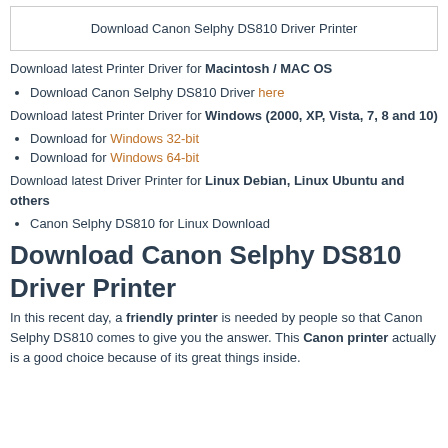[Figure (screenshot): Box with text: Download Canon Selphy DS810 Driver Printer]
Download latest Printer Driver for Macintosh / MAC OS
Download Canon Selphy DS810 Driver here
Download latest Printer Driver for Windows (2000, XP, Vista, 7, 8 and 10)
Download for Windows 32-bit
Download for Windows 64-bit
Download latest Driver Printer for Linux Debian, Linux Ubuntu and others
Canon Selphy DS810 for Linux Download
Download Canon Selphy DS810 Driver Printer
In this recent day, a friendly printer is needed by people so that Canon Selphy DS810 comes to give you the answer. This Canon printer actually is a good choice because of its great things inside.